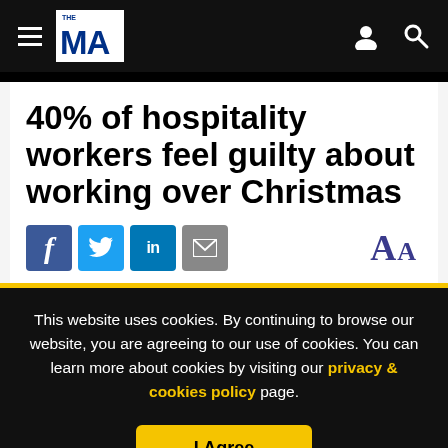THE MA (logo/navigation bar)
40% of hospitality workers feel guilty about working over Christmas
[Figure (other): Social sharing icons: Facebook, Twitter, LinkedIn, Email; and font-size toggle 'AA']
This website uses cookies. By continuing to browse our website, you are agreeing to our use of cookies. You can learn more about cookies by visiting our privacy & cookies policy page.
I Agree